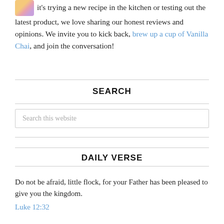it's trying a new recipe in the kitchen or testing out the latest product, we love sharing our honest reviews and opinions. We invite you to kick back, brew up a cup of Vanilla Chai, and join the conversation!
SEARCH
Search this website
DAILY VERSE
Do not be afraid, little flock, for your Father has been pleased to give you the kingdom.
Luke 12:32